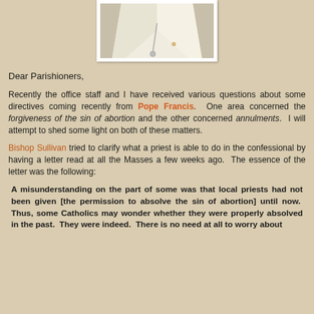[Figure (photo): Partial photo of a person in white clerical vestments with a cross necklace, cropped to show torso only]
Dear Parishioners,
Recently the office staff and I have received various questions about some directives coming recently from Pope Francis. One area concerned the forgiveness of the sin of abortion and the other concerned annulments. I will attempt to shed some light on both of these matters.
Bishop Sullivan tried to clarify what a priest is able to do in the confessional by having a letter read at all the Masses a few weeks ago. The essence of the letter was the following:
A misunderstanding on the part of some was that local priests had not been given [the permission to absolve the sin of abortion] until now. Thus, some Catholics may wonder whether they were properly absolved in the past. They were indeed. There is no need at all to worry about